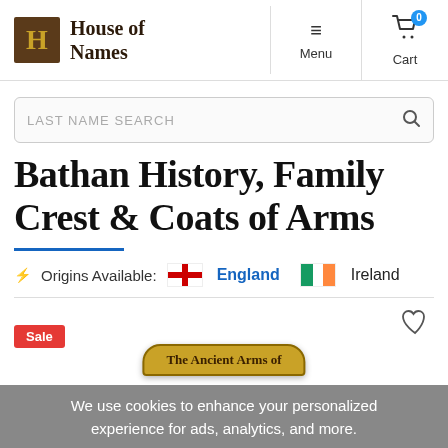House of Names — Menu | Cart (0)
LAST NAME SEARCH
Bathan History, Family Crest & Coats of Arms
Origins Available: England | Ireland
We use cookies to enhance your personalized experience for ads, analytics, and more.
The Ancient Arms of